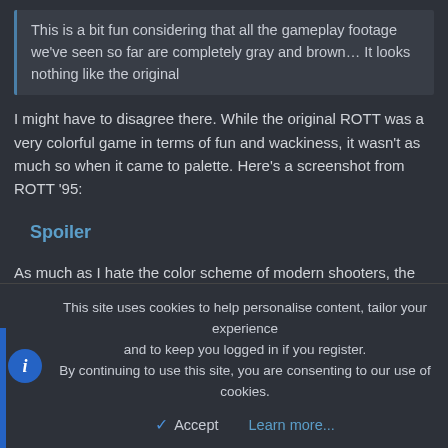This is a bit fun considering that all the gameplay footage we've seen so far are completely gray and brown… It looks nothing like the original
I might have to disagree there. While the original ROTT was a very colorful game in terms of fun and wackiness, it wasn't as much so when it came to palette. Here's a screenshot from ROTT '95:
Spoiler
As much as I hate the color scheme of modern shooters, the only old school FPSes that featured saturated and vibrant color schemes were Wolfenstein 3D, Doom, and Blake Stone. ROTT, Duke 3D, Shadow Warrior, Blood, Redneck Rampage, etc. all featured darker colors. Of course, the less colorful backdrop is hard to notice when you're moving super-fast, shooting everything in sight, and having actual fun, rather than waiting for
This site uses cookies to help personalise content, tailor your experience and to keep you logged in if you register.
By continuing to use this site, you are consenting to our use of cookies.
Accept
Learn more...